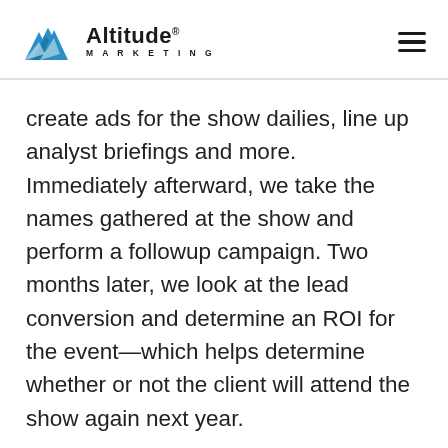Altitude Marketing
create ads for the show dailies, line up analyst briefings and more. Immediately afterward, we take the names gathered at the show and perform a followup campaign. Two months later, we look at the lead conversion and determine an ROI for the event—which helps determine whether or not the client will attend the show again next year.
2. Make eye contact.